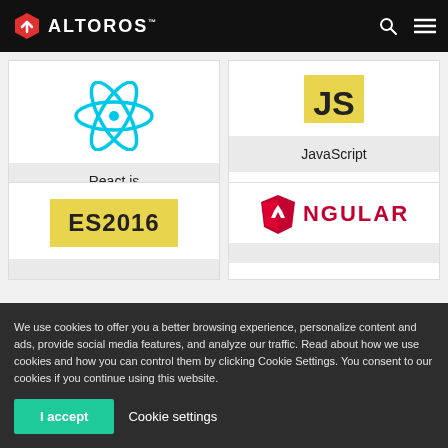ALTOROS
[Figure (logo): React.js logo - cyan atomic/orbit symbol]
React.js
[Figure (logo): JavaScript logo - yellow square with JS text]
JavaScript
[Figure (logo): ES2016 badge - yellow background with bold ES2016 text]
ES2016
[Figure (logo): Angular logo - red shield with A and NGULAR text]
ANGULAR
We use cookies to offer you a better browsing experience, personalize content and ads, provide social media features, and analyze our traffic. Read about how we use cookies and how you can control them by clicking Cookie Settings. You consent to our cookies if you continue using this website.
I accept
Cookie settings